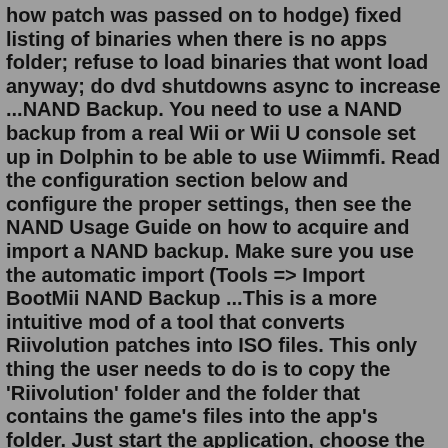how patch was passed on to hodge) fixed listing of binaries when there is no apps folder; refuse to load binaries that wont load anyway; do dvd shutdowns async to increase ...NAND Backup. You need to use a NAND backup from a real Wii or Wii U console set up in Dolphin to be able to use Wiimmfi. Read the configuration section below and configure the proper settings, then see the NAND Usage Guide on how to acquire and import a NAND backup. Make sure you use the automatic import (Tools => Import BootMii NAND Backup ...This is a more intuitive mod of a tool that converts Riivolution patches into ISO files. This only thing the user needs to do is to copy the 'Riivolution' folder and the folder that contains the game's files into the app's folder. Just start the application, choose the downloaded mod and wait. Compatible only with: * Newer SMBW ... Feb 17, 2022 · someonetookmeep said: you look for specific games with what you want, then you can find and branch out from there. like with mkwii look for ctgp, and then you can find the custom track wiki. then for